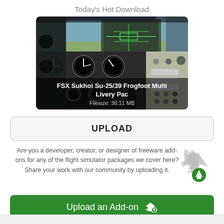Today's Hot Download
[Figure (photo): Cockpit view of FSX Sukhoi Su-25/39 Frogfoot with instrument panel and HUD display]
FSX Sukhoi Su-25/39 Frogfoot Multi Livery Pac
Filesize: 38.11 MB
UPLOAD
Are you a developer, creator, or designer of freeware add-ons for any of the flight simulator packages we cover here? Share your work with our community by uploading it.
Upload an Add-on